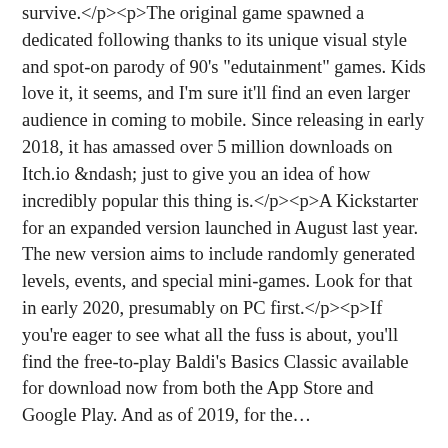survive. The original game spawned a dedicated following thanks to its unique visual style and spot-on parody of 90's "edutainment" games. Kids love it, it seems, and I'm sure it'll find an even larger audience in coming to mobile. Since releasing in early 2018, it has amassed over 5 million downloads on Itch.io &ndash; just to give you an idea of how incredibly popular this thing is. A Kickstarter for an expanded version launched in August last year. The new version aims to include randomly generated levels, events, and special mini-games. Look for that in early 2020, presumably on PC first. If you're eager to see what all the fuss is about, you'll find the free-to-play Baldi's Basics Classic available for download now from both the App Store and Google Play. And as of 2019, for the...